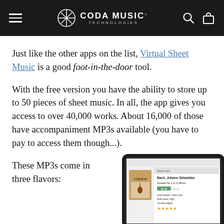CODA MUSIC TECHNOLOGIES
Just like the other apps on the list, Virtual Sheet Music is a good foot-in-the-door tool.
With the free version you have the ability to store up to 50 pieces of sheet music. In all, the app gives you access to over 40,000 works. About 16,000 of those have accompaniment MP3s available (you have to pay to access them though...).
These MP3s come in three flavors:
[Figure (screenshot): Tablet device showing Virtual Sheet Music app with Bach, Johann Sebastian Sonata No.1 in G Minor listing]